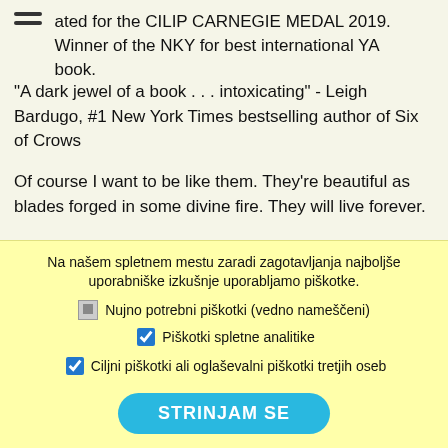ated for the CILIP CARNEGIE MEDAL 2019. Winner of the NKY for best international YA book.
"A dark jewel of a book . . . intoxicating" - Leigh Bardugo, #1 New York Times bestselling author of Six of Crows
Of course I want to be like them. They're beautiful as blades forged in some divine fire. They will live forever.
And Cardan is even more beautiful than the rest. I hate him more than all the others. I hate him so much that sometimes when I look at him, I can hardly breathe.
One terrible morning, Jude and her sisters see their parents murdered in front of them. The terrifying assassin abducts all three girls to the world of Faerie, where Jude is installed in the
Na našem spletnem mestu zaradi zagotavljanja najboljše uporabniške izkušnje uporabljamo piškotke.
Nujno potrebni piškotki (vedno nameščeni)
Piškotki spletne analitike
Ciljni piškotki ali oglaševalni piškotki tretjih oseb
STRINJAM SE